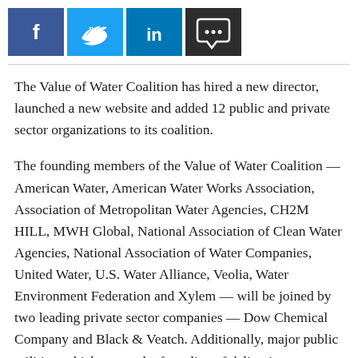[Figure (other): Social media share buttons: Facebook (dark blue), Twitter (light blue), LinkedIn (medium blue), Comment/chat (dark gray)]
The Value of Water Coalition has hired a new director, launched a new website and added 12 public and private sector organizations to its coalition.
The founding members of the Value of Water Coalition — American Water, American Water Works Association, Association of Metropolitan Water Agencies, CH2M HILL, MWH Global, National Association of Clean Water Agencies, National Association of Water Companies, United Water, U.S. Water Alliance, Veolia, Water Environment Federation and Xylem — will be joined by two leading private sector companies — Dow Chemical Company and Black & Veatch. Additionally, major public utilities, which are on the front line of delivering